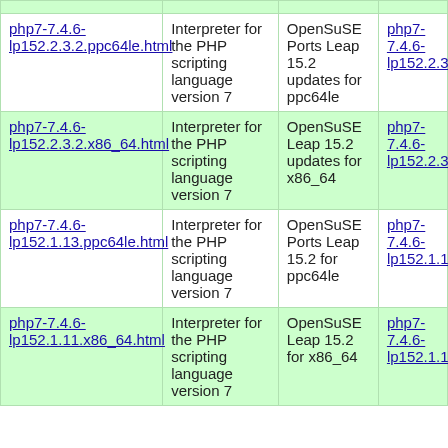| Package | Description | Repository | Link |
| --- | --- | --- | --- |
| php7-7.4.6-lp152.2.3.2.ppc64le.html | Interpreter for the PHP scripting language version 7 | OpenSuSE Ports Leap 15.2 updates for ppc64le | php7-7.4.6-lp152.2.3.2.ppc6… |
| php7-7.4.6-lp152.2.3.2.x86_64.html | Interpreter for the PHP scripting language version 7 | OpenSuSE Leap 15.2 updates for x86_64 | php7-7.4.6-lp152.2.3.2.x86… |
| php7-7.4.6-lp152.1.13.ppc64le.html | Interpreter for the PHP scripting language version 7 | OpenSuSE Ports Leap 15.2 for ppc64le | php7-7.4.6-lp152.1.13.ppc6… |
| php7-7.4.6-lp152.1.11.x86_64.html | Interpreter for the PHP scripting language version 7 | OpenSuSE Leap 15.2 for x86_64 | php7-7.4.6-lp152.1.11.x86… |